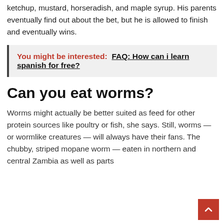appetizing, using condiments such as ketchup, mustard, horseradish, and maple syrup. His parents eventually find out about the bet, but he is allowed to finish and eventually wins.
You might be interested:  FAQ: How can i learn spanish for free?
Can you eat worms?
Worms might actually be better suited as feed for other protein sources like poultry or fish, she says. Still, worms — or wormlike creatures — will always have their fans. The chubby, striped mopane worm — eaten in northern and central Zambia as well as parts